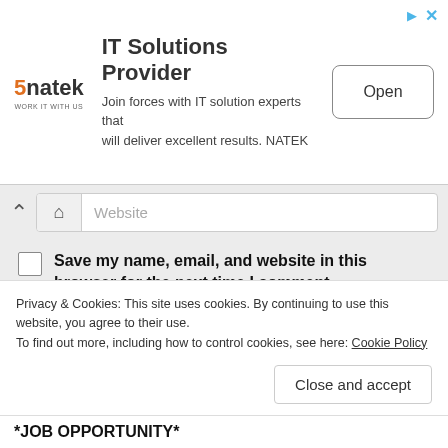[Figure (screenshot): NATEK IT Solutions Provider advertisement banner with logo, description text, and Open button]
Website
Save my name, email, and website in this browser for the next time I comment.
[Figure (screenshot): reCAPTCHA widget with checkbox and 'I'm not a robot' label, reCAPTCHA logo, Privacy - Terms links]
Privacy & Cookies: This site uses cookies. By continuing to use this website, you agree to their use.
To find out more, including how to control cookies, see here: Cookie Policy
Close and accept
*JOB OPPORTUNITY*